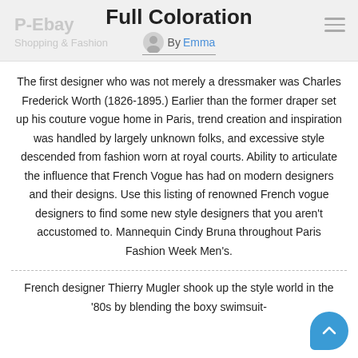P-Ebay
Shopping & Fashion
Full Coloration
By Emma
The first designer who was not merely a dressmaker was Charles Frederick Worth (1826-1895.) Earlier than the former draper set up his couture vogue home in Paris, trend creation and inspiration was handled by largely unknown folks, and excessive style descended from fashion worn at royal courts. Ability to articulate the influence that French Vogue has had on modern designers and their designs. Use this listing of renowned French vogue designers to find some new style designers that you aren't accustomed to. Mannequin Cindy Bruna throughout Paris Fashion Week Men's.
French designer Thierry Mugler shook up the style world in the '80s by blending the boxy swimsuit-